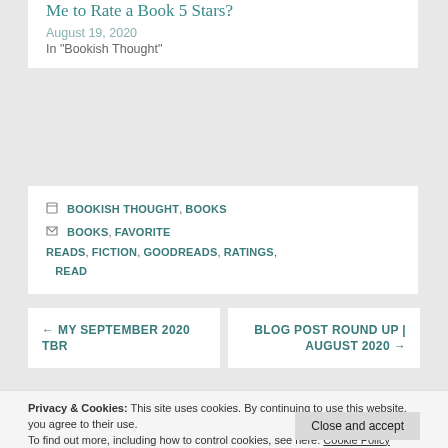Me to Rate a Book 5 Stars?
August 19, 2020
In "Bookish Thought"
BOOKISH THOUGHT, BOOKS
BOOKS, FAVORITE READS, FICTION, GOODREADS, RATINGS, READ
← MY SEPTEMBER 2020 TBR
BLOG POST ROUND UP | AUGUST 2020 →
Privacy & Cookies: This site uses cookies. By continuing to use this website, you agree to their use. To find out more, including how to control cookies, see here: Cookie Policy
Close and accept